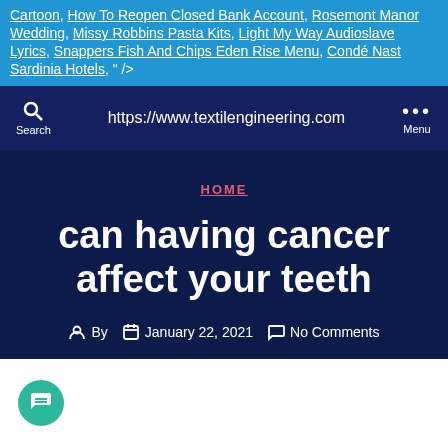Cartoon, How To Reopen Closed Bank Account, Rosemont Manor Wedding, Missy Robbins Pasta Kits, Light My Way Audioslave Lyrics, Snappers Fish And Chips Eden Rise Menu, Condé Nast Sardinia Hotels, " />
https://www.textilengineering.com
HOME
can having cancer affect your teeth
By  January 22, 2021  No Comments